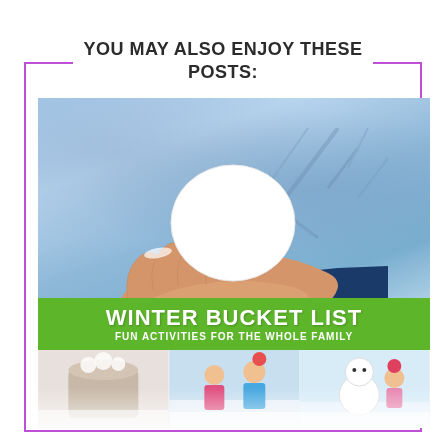YOU MAY ALSO ENJOY THESE POSTS:
[Figure (photo): A hand holding a round snowball against a snowy winter background. Below is a green banner reading 'WINTER BUCKET LIST - FUN ACTIVITIES FOR THE WHOLE FAMILY' with small thumbnail images at the bottom.]